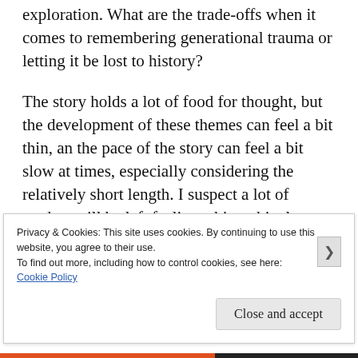exploration. What are the trade-offs when it comes to remembering generational trauma or letting it be lost to history?
The story holds a lot of food for thought, but the development of these themes can feel a bit thin, an the pace of the story can feel a bit slow at times, especially considering the relatively short length. I suspect a lot of readers will be left feeling a bit ambivalent towards the novella, as I did. It never quite feels like it lives up to its
Privacy & Cookies: This site uses cookies. By continuing to use this website, you agree to their use.
To find out more, including how to control cookies, see here: Cookie Policy
Close and accept